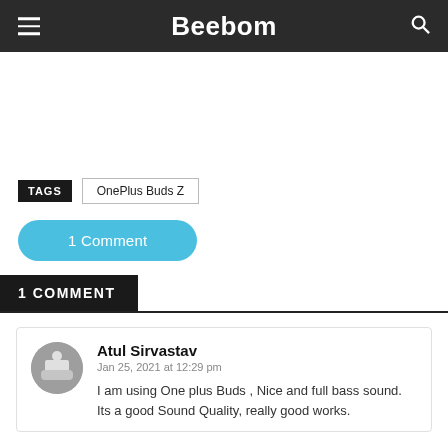Beebom
TAGS  OnePlus Buds Z
1 Comment
1 COMMENT
Atul Sirvastav
Jan 25, 2021 at 12:29 pm
I am using One plus Buds , Nice and full bass sound. Its a good Sound Quality, really good works.